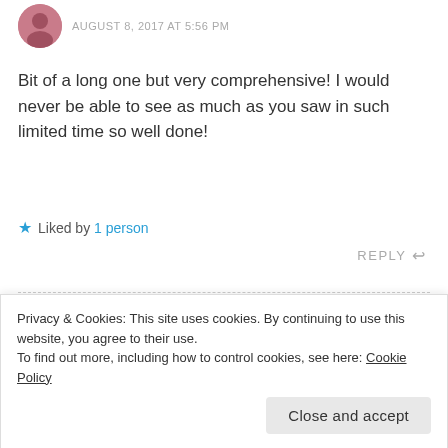AUGUST 8, 2017 AT 5:56 PM
Bit of a long one but very comprehensive! I would never be able to see as much as you saw in such limited time so well done!
★ Liked by 1 person
REPLY
tashas-tales says:
AUGUST 8, 2017 AT 6:00 PM
Privacy & Cookies: This site uses cookies. By continuing to use this website, you agree to their use.
To find out more, including how to control cookies, see here: Cookie Policy
Close and accept